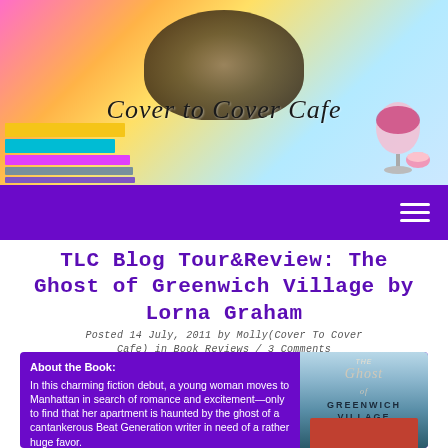[Figure (logo): Cover to Cover Cafe blog header banner with colorful gradient background, decorative skull with butterflies, stacked books on left, wine glass on right, and cursive 'Cover to Cover Cafe' logo text]
≡ (navigation hamburger menu)
TLC Blog Tour&Review: The Ghost of Greenwich Village by Lorna Graham
Posted 14 July, 2011 by Molly(Cover To Cover Cafe) in Book Reviews / 3 Comments
About the Book:
In this charming fiction debut, a young woman moves to Manhattan in search of romance and excitement—only to find that her apartment is haunted by the ghost of a cantankerous Beat Generation writer in need of a rather huge favor.
[Figure (photo): Book cover of 'The Ghost of Greenwich Village' showing script ghost title text over a blue-grey background with a red brick building at bottom]